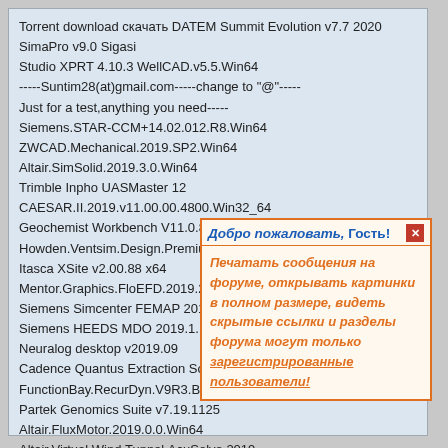Torrent download скачать DATEM Summit Evolution v7.7 2020 SimaPro v9.0 Sigasi Studio XPRT 4.10.3 WellCAD.v5.5.Win64
-----Suntim28(at)gmail.com-----change to "@"-----
Just for a test,anything you need-----
Siemens.STAR-CCM+14.02.012.R8.Win64
ZWCAD.Mechanical.2019.SP2.Win64
Altair.SimSolid.2019.3.0.Win64
Trimble Inpho UASMaster 12
CAESAR.II.2019.v11.00.00.4800.Win32_64
Geochemist Workbench V11.0.8
Howden.Ventsim.Design.Premium.v5.1.4.5
Itasca XSite v2.00.88 x64
Mentor.Graphics.FloEFD.2019.2.0.v4632.Suite.Win64
Siemens Simcenter FEMAP 2019.1 Win64
Siemens HEEDS MDO 2019.1.1 Win64
Neuralog desktop v2019.09
Cadence Quantus Extraction Solution (E...
FunctionBay.RecurDyn.V9R3.BN93091...
Partek Genomics Suite v7.19.1125
Altair.FluxMotor.2019.0.0.Win64
Altair.Virtual.Wind.Tunnel.AcuSolve.2019...
DP Technology ESPRIT 2019 R1
Carlson takeoff R11 x64
OpenInvertor 10.3.0 windows linux
Nemetschek Vectorworks 2019 SP3.1 Win64
RIBtec.v19.0.build.22.05.2019
Добро пожаловать, Гость!
Печатать сообщения на форуме, открывать картинки в полном размере, видеть скрытые ссылки и разделы форума могут только зарегистрированные пользователи!